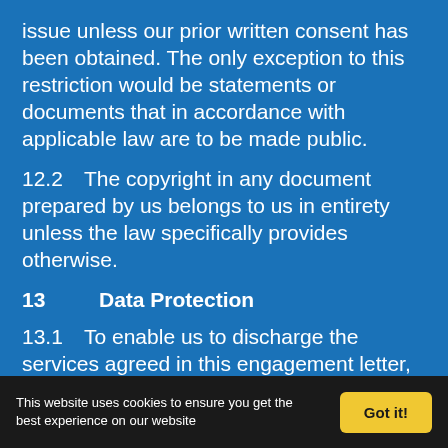issue unless our prior written consent has been obtained. The only exception to this restriction would be statements or documents that in accordance with applicable law are to be made public.
12.2    The copyright in any document prepared by us belongs to us in entirety unless the law specifically provides otherwise.
13        Data Protection
13.1    To enable us to discharge the services agreed in this engagement letter, comply with related legal and regulatory obligations and for other related purposes including
This website uses cookies to ensure you get the best experience on our website   Got it!